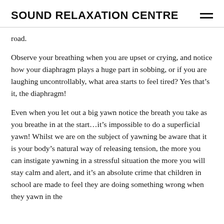SOUND RELAXATION CENTRE
road.
Observe your breathing when you are upset or crying, and notice how your diaphragm plays a huge part in sobbing, or if you are laughing uncontrollably, what area starts to feel tired? Yes that’s it, the diaphragm!
Even when you let out a big yawn notice the breath you take as you breathe in at the start…it’s impossible to do a superficial yawn! Whilst we are on the subject of yawning be aware that it is your body’s natural way of releasing tension, the more you can instigate yawning in a stressful situation the more you will stay calm and alert, and it’s an absolute crime that children in school are made to feel they are doing something wrong when they yawn in the